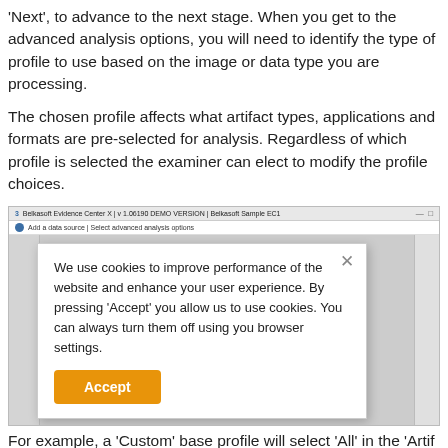'Next', to advance to the next stage. When you get to the advanced analysis options, you will need to identify the type of profile to use based on the image or data type you are processing.
The chosen profile affects what artifact types, applications and formats are pre-selected for analysis. Regardless of which profile is selected the examiner can elect to modify the profile choices.
[Figure (screenshot): Screenshot of Belkasoft Evidence Center X application with a cookie consent modal dialog overlaying the interface. The modal reads: 'We use cookies to improve performance of the website and enhance your user experience. By pressing Accept you allow us to use cookies. You can always turn them off using you browser settings.' with an orange 'Accept' button.]
For example, a 'Custom' base profile will select 'All' in the 'Artif...